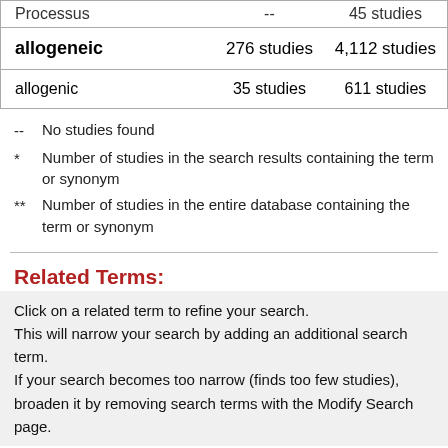| Term | * (search results) | ** (database) |
| --- | --- | --- |
| Processus | -- | 45 studies |
| allogeneic | 276 studies | 4,112 studies |
| allogenic | 35 studies | 611 studies |
-- No studies found
* Number of studies in the search results containing the term or synonym
** Number of studies in the entire database containing the term or synonym
Related Terms:
Click on a related term to refine your search.
This will narrow your search by adding an additional search term.
If your search becomes too narrow (finds too few studies), broaden it by removing search terms with the Modify Search page.